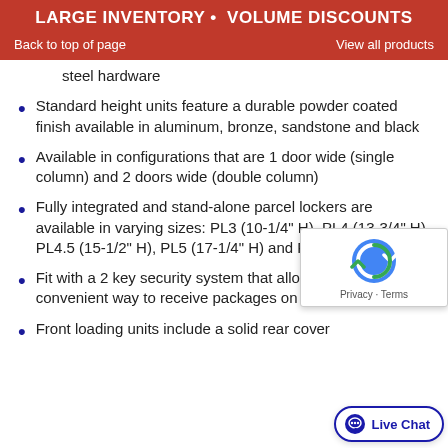LARGE INVENTORY • VOLUME DISCOUNTS
Back to top of page    View all products
steel hardware
Standard height units feature a durable powder coated finish available in aluminum, bronze, sandstone and black
Available in configurations that are 1 door wide (single column) and 2 doors wide (double column)
Fully integrated and stand-alone parcel lockers are available in varying sizes: PL3 (10-1/4" H), PL4 (13-3/4" H), PL4.5 (15-1/2" H), PL5 (17-1/4" H) and PL6 (20-3/4" H)
Fit with a 2 key security system that allow tenants a convenient way to receive packages on site
Front loading units include a solid rear cover